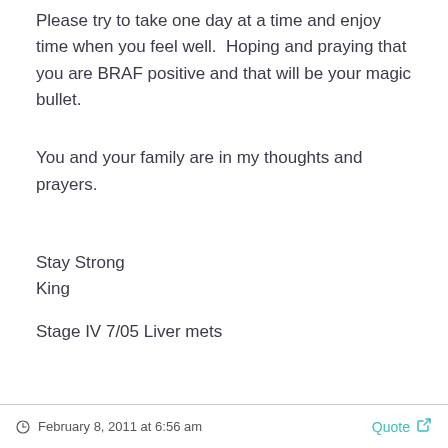Please try to take one day at a time and enjoy time when you feel well.  Hoping and praying that you are BRAF positive and that will be your magic bullet.
You and your family are in my thoughts and prayers.
Stay Strong
King
Stage IV 7/05 Liver mets
February 8, 2011 at 6:56 am   Quote